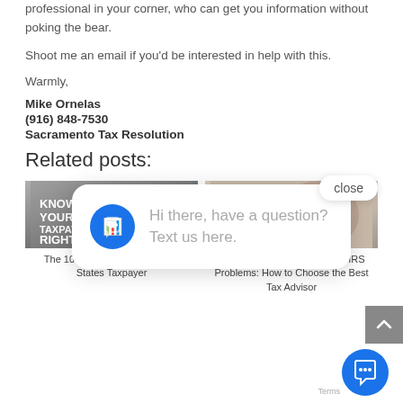professional in your corner, who can get you information without poking the bear.
Shoot me an email if you'd be interested in help with this.
Warmly,
Mike Ornelas
(916) 848-7530
Sacramento Tax Resolution
Related posts:
[Figure (photo): Card image with chains and 'KNOW YOUR TAXPAYER RIGHTS' text overlay. Caption: The 10 Rights for Every United States Taxpayer]
[Figure (photo): Card image with woman near brick wall. Caption: United States Taxpayers with IRS Problems: How to Choose the Best Tax Advisor]
[Figure (other): Chat popup overlay with blue icon saying: Hi there, have a question? Text us here. Close button and chat bubble button visible.]